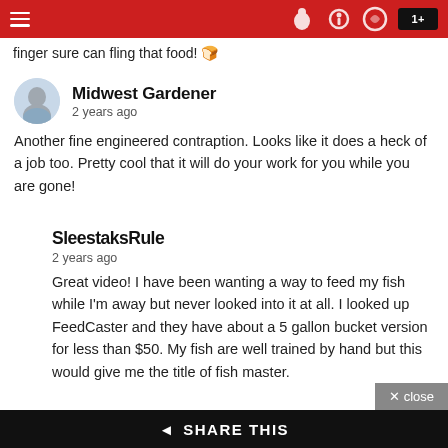finger sure can fling that food! 🍞
Midwest Gardener
2 years ago
Another fine engineered contraption. Looks like it does a heck of a job too. Pretty cool that it will do your work for you while you are gone!
SleestaksRule
2 years ago
Great video! I have been wanting a way to feed my fish while I'm away but never looked into it at all. I looked up FeedCaster and they have about a 5 gallon bucket version for less than $50. My fish are well trained by hand but this would give me the title of fish master.
SHARE THIS